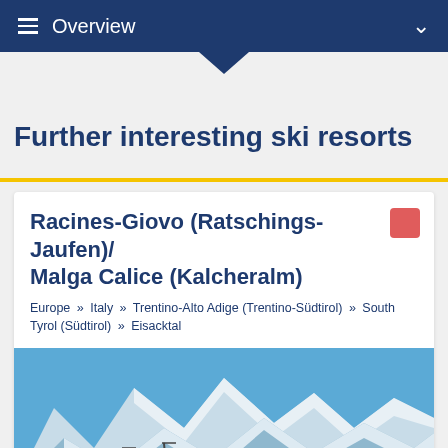≡ Overview
Further interesting ski resorts
Racines-Giovo (Ratschings-Jaufen)/ Malga Calice (Kalcheralm)
Europe » Italy » Trentino-Alto Adige (Trentino-Südtirol) » South Tyrol (Südtirol) » Eisacktal
[Figure (photo): Snowy mountain ski resort landscape with blue sky, snow-covered peaks, ski lift poles, and pine trees in foreground. Accommodation button overlay bottom-right.]